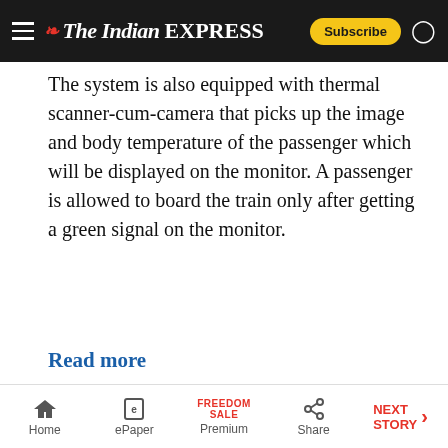The Indian EXPRESS
The system is also equipped with thermal scanner-cum-camera that picks up the image and body temperature of the passenger which will be displayed on the monitor. A passenger is allowed to board the train only after getting a green signal on the monitor.
Read more
[Figure (photo): A railway station scene showing a man wearing a blue face mask in the foreground, with a security/railway official visible in the background near entrance gates. The setting appears to be an Indian railway station during COVID-19 pandemic.]
Home | ePaper | Premium (FREEDOM SALE) | Share | NEXT STORY